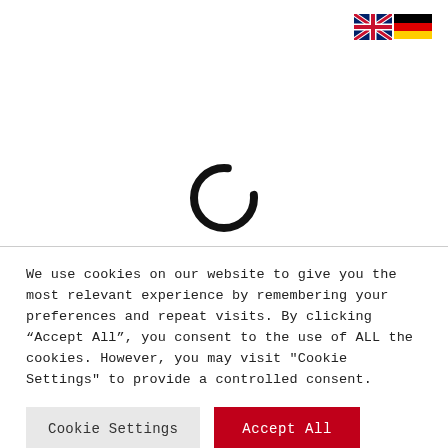[Figure (illustration): UK flag (Union Jack) and German flag icons for language selection in top right corner]
[Figure (other): Circular loading spinner icon, black arc forming an incomplete circle, centered on the page]
We use cookies on our website to give you the most relevant experience by remembering your preferences and repeat visits. By clicking “Accept All”, you consent to the use of ALL the cookies. However, you may visit "Cookie Settings" to provide a controlled consent.
Cookie Settings
Accept All